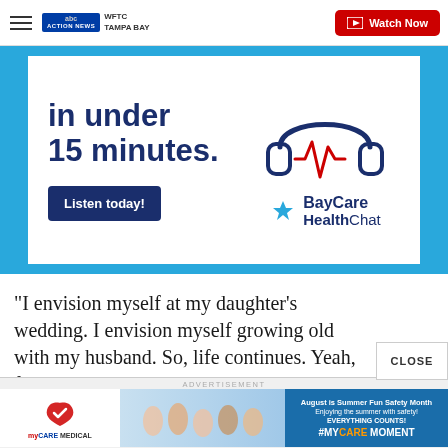WFTC TAMPA BAY — Watch Now
[Figure (infographic): BayCare HealthChat advertisement banner: 'in under 15 minutes.' with a headphone icon containing a heartbeat line, Listen today! button, and BayCare HealthChat logo on cyan/white background]
“I envision myself at my daughter’s wedding. I envision myself growing old with my husband. So, life continues. Yeah, for sure,” she said.
[Figure (infographic): MyCare Medical advertisement banner with people on beach, 'August is Summer Fun Safety Month, Enjoying the summer with safety! EVERYTHING COUNTS! #MYCAREMOMENT']